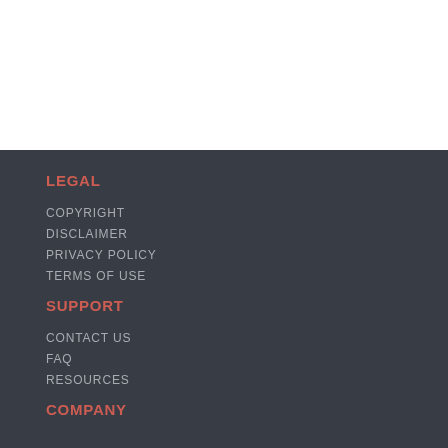LEGAL
COPYRIGHT
DISCLAIMER
PRIVACY POLICY
TERMS OF USE
SUPPORT
CONTACT US
FAQ
RESOURCES
COMPANY